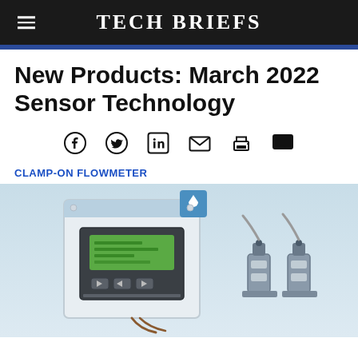Tech Briefs
New Products: March 2022 Sensor Technology
CLAMP-ON FLOWMETER
[Figure (photo): A clamp-on ultrasonic flowmeter showing the main display/transmitter unit (white enclosure with green LCD display and control buttons, topped with a blue water-drop icon) and sensor clamps/transducers with cables on the right side, set against a light blue-grey background.]